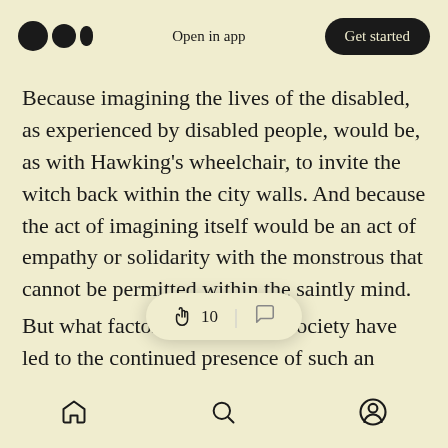Open in app | Get started
Because imagining the lives of the disabled, as experienced by disabled people, would be, as with Hawking's wheelchair, to invite the witch back within the city walls. And because the act of imagining itself would be an act of empathy or solidarity with the monstrous that cannot be permitted within the saintly mind.
But what factors within abled society have led to the continued presence of such an eschatological framework in the midst of a largely secular society? There is [obscured] vious driver, and [obscured]
Home | Search | Profile